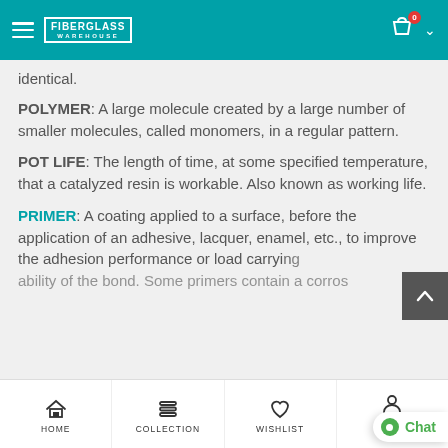Fiberglass Warehouse - navigation bar
identical.
POLYMER: A large molecule created by a large number of smaller molecules, called monomers, in a regular pattern.
POT LIFE: The length of time, at some specified temperature, that a catalyzed resin is workable. Also known as working life.
PRIMER: A coating applied to a surface, before the application of an adhesive, lacquer, enamel, etc., to improve the adhesion performance or load carrying ability of the bond. Some primers contain a corros
HOME   COLLECTION   WISHLIST   ACCOUNT